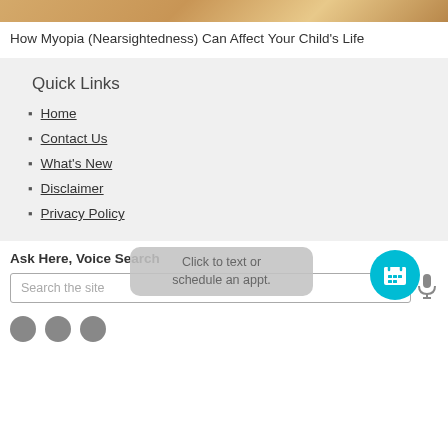[Figure (photo): Top portion of an article thumbnail image showing a child]
How Myopia (Nearsightedness) Can Affect Your Child's Life
Quick Links
Home
Contact Us
What's New
Disclaimer
Privacy Policy
Ask Here, Voice Search
Click to text or schedule an appt.
Search the site